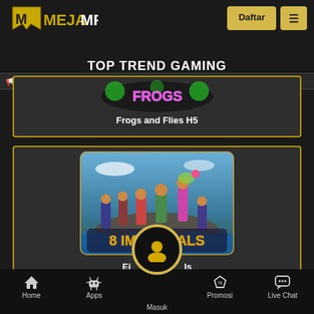[Figure (screenshot): MEJAMPO gaming website header with gold logo on left and Daftar/menu buttons on right]
tu tanna pemberitahuan terlebih dahulu, di mohon agar mengerek nomor
TOP TREND GAMING
[Figure (screenshot): Frogs and Flies H5 game card with colorful logo]
Frogs and Flies H5
[Figure (screenshot): 8 Immortals slot game card with characters illustration]
Eight Immortals
Home  Apps  Masuk  Promosi  Live Chat